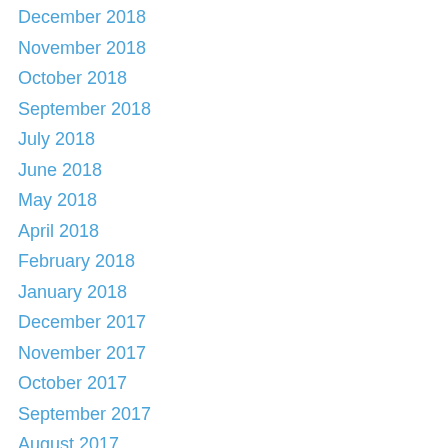December 2018
November 2018
October 2018
September 2018
July 2018
June 2018
May 2018
April 2018
February 2018
January 2018
December 2017
November 2017
October 2017
September 2017
August 2017
July 2017
June 2017
May 2017
April 2017
March 2017